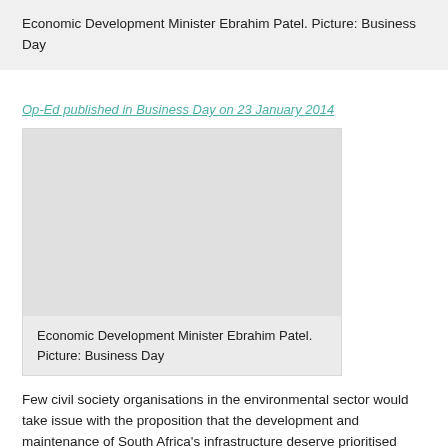Economic Development Minister Ebrahim Patel. Picture: Business Day
Op-Ed published in Business Day on 23 January 2014
[Figure (photo): Photograph of Economic Development Minister Ebrahim Patel, sourced from Business Day. The image area appears as a grey placeholder rectangle.]
Economic Development Minister Ebrahim Patel. Picture: Business Day
Few civil society organisations in the environmental sector would take issue with the proposition that the development and maintenance of South Africa's infrastructure deserve prioritised